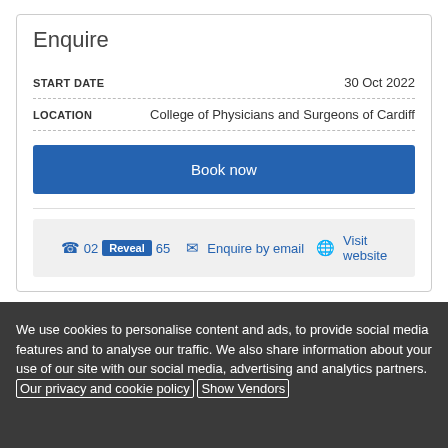Enquire
| Field | Value |
| --- | --- |
| START DATE | 30 Oct 2022 |
| LOCATION | College of Physicians and Surgeons of Cardiff |
Book now
02  Reveal  65   Enquire by email   Visit website
We use cookies to personalise content and ads, to provide social media features and to analyse our traffic. We also share information about your use of our site with our social media, advertising and analytics partners. Our privacy and cookie policy  Show Vendors